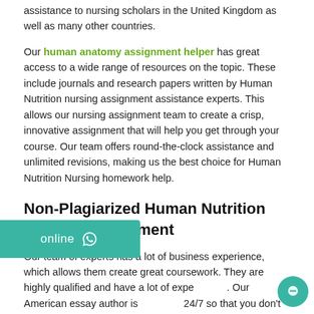assistance to nursing scholars in the United Kingdom as well as many other countries.
Our human anatomy assignment helper has great access to a wide range of resources on the topic. These include journals and research papers written by Human Nutrition nursing assignment assistance experts. This allows our nursing assignment team to create a crisp, innovative assignment that will help you get through your course. Our team offers round-the-clock assistance and unlimited revisions, making us the best choice for Human Nutrition Nursing homework help.
Non-Plagiarized Human Nutrition Nursing Assignment
Our team of experts has a lot of business experience, which allows them create great coursework. They are highly qualified and have a lot of experience. Our American essay author is available 24/7 so that you don't get stuck in difficult situations with your coursework. Our team promises crisp, precise and 100% original work. We also provide a Turnitin report for free to help you believe in us and make your mark.